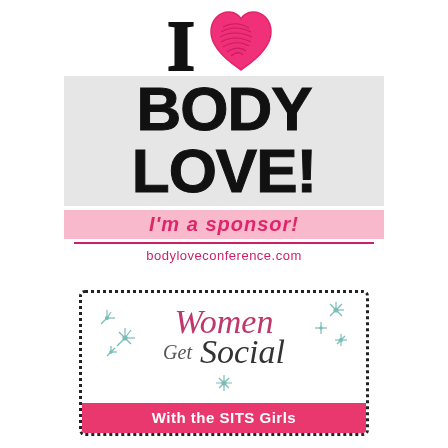[Figure (logo): I Love Body Love! I'm a Sponsor! bodyloveconference.com — sponsor badge with large black I, pink heart, bold BODY LOVE! text, pink I'm a Sponsor band, and pink URL]
[Figure (logo): Women Get Social With the SITS Girls — badge with dotted border, cursive pink Women text, Get Social in mixed serif, sparkle stars, and pink banner with white text]